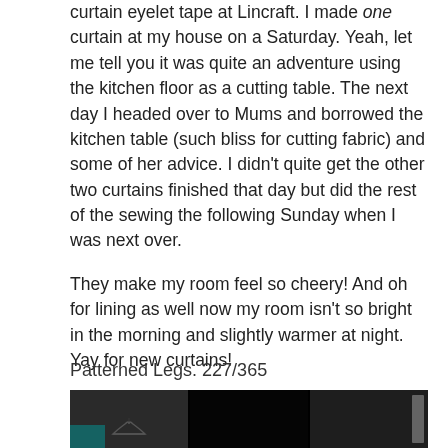curtain eyelet tape at Lincraft. I made one curtain at my house on a Saturday. Yeah, let me tell you it was quite an adventure using the kitchen floor as a cutting table. The next day I headed over to Mums and borrowed the kitchen table (such bliss for cutting fabric) and some of her advice. I didn't quite get the other two curtains finished that day but did the rest of the sewing the following Sunday when I was next over.

They make my room feel so cheery! And oh for lining as well now my room isn't so bright in the morning and slightly warmer at night.
Yay for new curtains!
Patterned Legs. 227/365
[Figure (photo): A dark photograph showing what appears to be curtains or a room interior, split into three panels. The left panel shows a white paneled wall with a clothes hanger, the middle panel is very dark/black, and the right panel shows a white door frame or wall edge.]